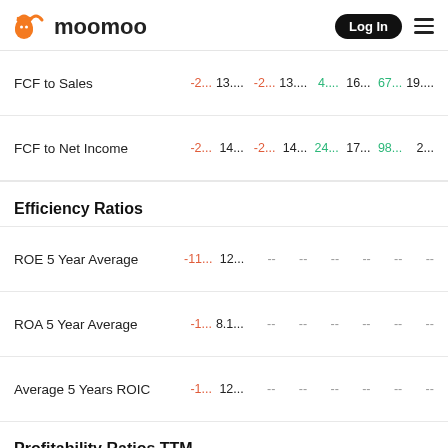moomoo — Log In
| Metric | V1 | V2 | V3 | V4 | V5 | V6 | V7 | V8 |
| --- | --- | --- | --- | --- | --- | --- | --- | --- |
| FCF to Sales | -2... | 13.... | -2... | 13.... | 4.... | 16... | 67... | 19.... |
| FCF to Net Income | -2... | 14... | -2... | 14... | 24... | 17... | 98... | 2... |
Efficiency Ratios
| Metric | V1 | V2 | V3 | V4 | V5 | V6 | V7 | V8 |
| --- | --- | --- | --- | --- | --- | --- | --- | --- |
| ROE 5 Year Average | -11... | 12... | -- | -- | -- | -- | -- | -- |
| ROA 5 Year Average | -1... | 8.1... | -- | -- | -- | -- | -- | -- |
| Average 5 Years ROIC | -1... | 12... | -- | -- | -- | -- | -- | -- |
Profitability Ratios TTM